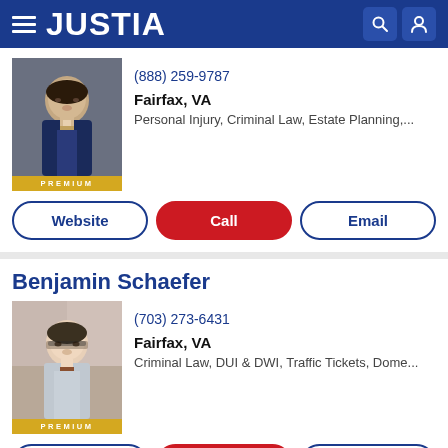JUSTIA
[Figure (photo): Professional headshot of attorney 1 (dark hair, beard, blue tie, suit), PREMIUM badge]
(888) 259-9787
Fairfax, VA
Personal Injury, Criminal Law, Estate Planning,...
Website | Call | Email
Benjamin Schaefer
[Figure (photo): Professional photo of Benjamin Schaefer (glasses, light jacket, striped tie), brick building background, PREMIUM badge]
(703) 273-6431
Fairfax, VA
Criminal Law, DUI & DWI, Traffic Tickets, Dome...
Website | Call | Email